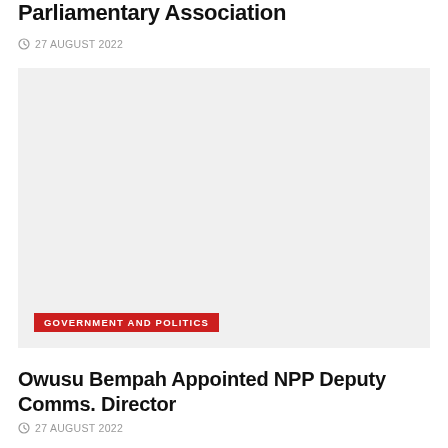Parliamentary Association
27 AUGUST 2022
[Figure (photo): Gray placeholder image with a red category tag reading 'GOVERNMENT AND POLITICS' in the lower left corner]
Owusu Bempah Appointed NPP Deputy Comms. Director
27 AUGUST 2022